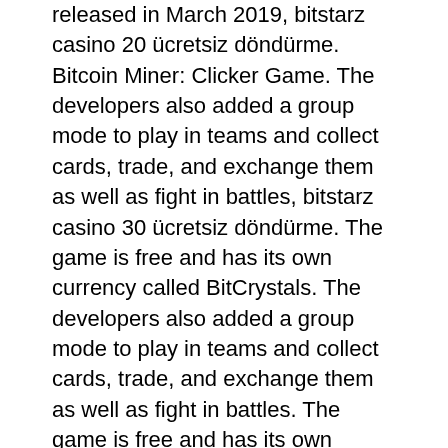released in March 2019, bitstarz casino 20 ücretsiz döndürme. Bitcoin Miner: Clicker Game. The developers also added a group mode to play in teams and collect cards, trade, and exchange them as well as fight in battles, bitstarz casino 30 ücretsiz döndürme. The game is free and has its own currency called BitCrystals. The developers also added a group mode to play in teams and collect cards, trade, and exchange them as well as fight in battles. The game is free and has its own currency called BitCrystals, bitstarz casino 30 ücretsiz döndürme. Every time there is a transaction on a smart contract, there is an increase in the value of the smart contract, bitstarz casino 30 tours gratuits. In-game assets, such as swords and skins, will be coded into non-fungible tokens that are completely unique and similar to real-world resources. The game is free and has its own currency called BitCrystals. It is used for trading and